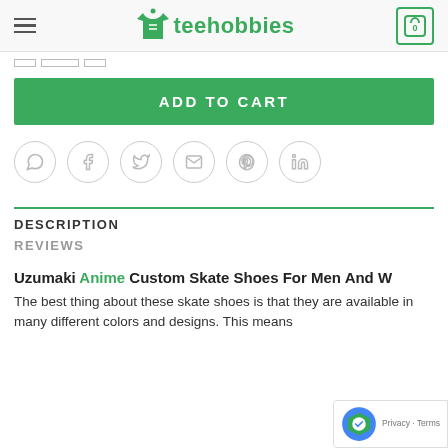teehobbies
[Figure (screenshot): Size selector tabs (small rectangles)]
ADD TO CART
[Figure (infographic): Social share icons row: WhatsApp, Facebook, Twitter, Email, Pinterest, LinkedIn]
DESCRIPTION
REVIEWS
Uzumaki Anime Custom Skate Shoes For Men And W...
The best thing about these skate shoes is that they are available in many different colors and designs. This means